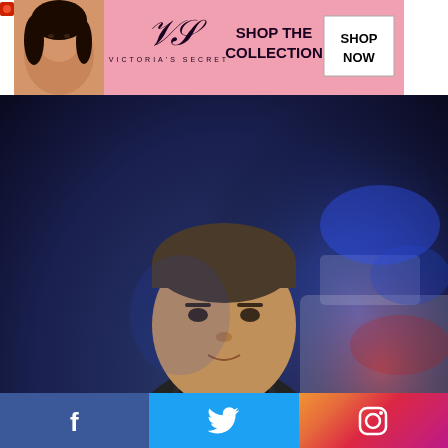[Figure (screenshot): Screenshot of a webpage showing a Victoria's Secret advertisement banner at top, a main photo of a male actor in a dark jacket in a nighttime setting, a close button, a Facebook share button, a second Victoria's Secret ad banner, and a social media footer bar with Facebook, Twitter, and Instagram icons.]
[Figure (photo): Male actor in dark jacket with blue nighttime background with police car lights]
[Figure (logo): Victoria's Secret advertisement banner with model, VS ornament logo, SHOP THE COLLECTION text, and SHOP NOW button]
[Figure (logo): Second Victoria's Secret advertisement banner at bottom]
CLOSE
Sha
[Figure (infographic): Social media footer bar with Facebook (blue), Twitter (light blue), and Instagram (gradient) icons]